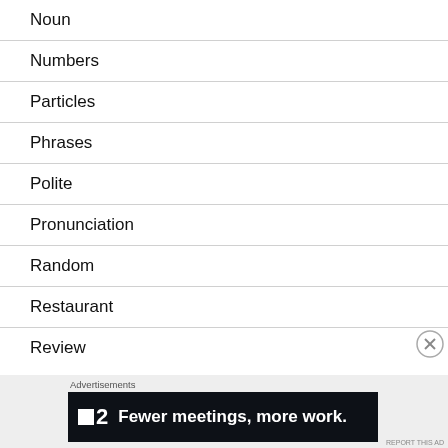Noun
Numbers
Particles
Phrases
Polite
Pronunciation
Random
Restaurant
Review
Advertisements
[Figure (screenshot): Advertisement banner: P2 logo with text 'Fewer meetings, more work.']